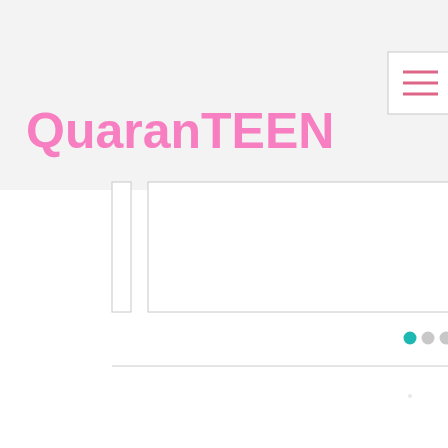[Figure (screenshot): Screenshot of QuaranTEEN website mobile view. Pink bold logo text reading 'QuaranTEEN' in the top-left, a hamburger menu icon (three horizontal pink lines) in a white box at top-right. Below are three partially visible slider/carousel frames. Three pagination dots below the slider (teal filled, gray, gray). A horizontal separator line. A dark circular back-to-top button with upward chevron arrow, and a blue circular button with three white dots (more options).]
QuaranTEEN